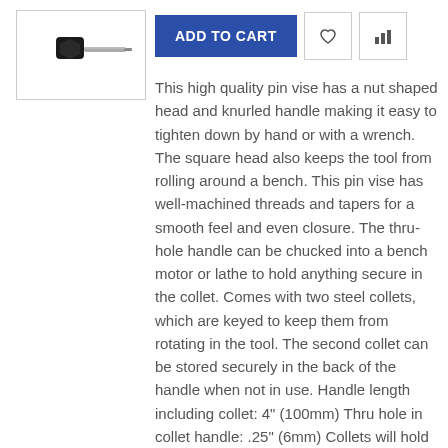[Figure (photo): Product image of a pin vise tool with a black nut-shaped head and metal shaft, shown in a white bordered box.]
ADD TO CART
This high quality pin vise has a nut shaped head and knurled handle making it easy to tighten down by hand or with a wrench. The square head also keeps the tool from rolling around a bench. This pin vise has well-machined threads and tapers for a smooth feel and even closure. The thru-hole handle can be chucked into a bench motor or lathe to hold anything secure in the collet. Comes with two steel collets, which are keyed to keep them from rotating in the tool. The second collet can be stored securely in the back of the handle when not in use. Handle length including collet: 4" (100mm) Thru hole in collet handle: .25" (6mm) Collets will hold most round parts from .059"